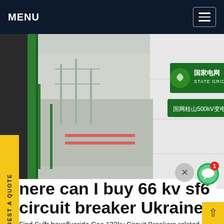MENU
[Figure (photo): A State Grid (国家电网) substation facility showing a green gate/fence, a green sign reading '国家电网 STATE GRID' and a sign reading '国网桂山500kV变电站'. Overlaid with a chat interface showing 'we can send you' text bubble, a green chat icon with badge showing '1', a close button, and 'SF6China' watermark in orange.]
nere can I buy 66 kv sf6 circuit breaker Ukraine
Find Sulfr hexafluoride Gas 132kv Circuit Breakers related suppliers, manufacturers, products and